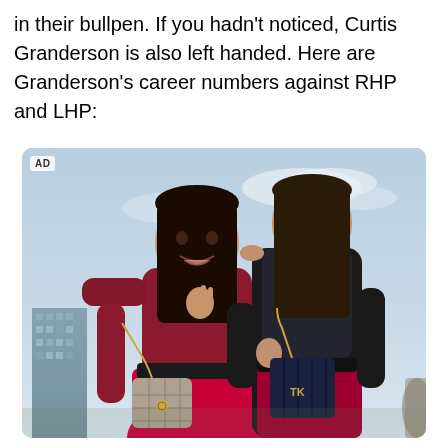in their bullpen.  If you hadn't noticed, Curtis Granderson is also left handed.  Here are Granderson's career numbers against RHP and LHP:
[Figure (photo): Advertisement photo showing two women in athletic/fashion outfits holding handbags, one whispering to the other, outdoors with sky and buildings in background. AD label in top left corner.]